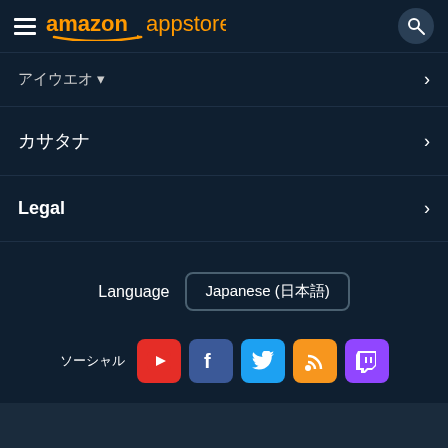amazon appstore
ааааааА▼
аааа
Legal
Language  Japanese (日本語)
[Figure (other): Social media icons row: YouTube (red), Facebook (blue), Twitter (cyan), Blog/RSS (orange), Twitch (purple)]
amazon cloud | amazon appstore